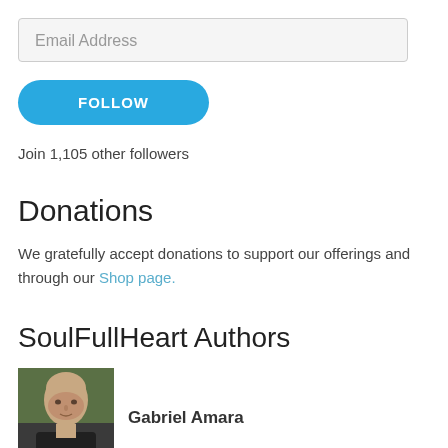Email Address
FOLLOW
Join 1,105 other followers
Donations
We gratefully accept donations to support our offerings and through our Shop page.
SoulFullHeart Authors
[Figure (photo): Portrait photo of Gabriel Amara, a bald man outdoors]
Gabriel Amara
The Challenges Of Sacred Intimacy